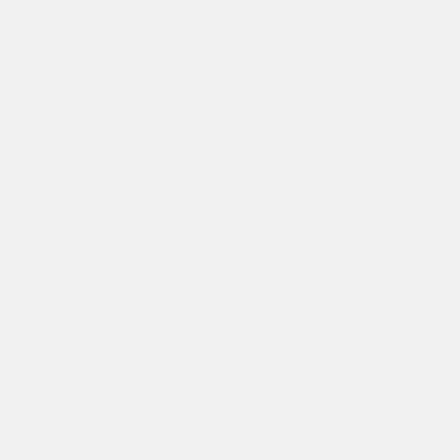http://amusecandyy.com/blogs/post/55-...
http://www.myindiagate.com/communit...
http://www.holidayscanada.com/blogs/...
http://foodtube.net/profiles/blogs/bupro...
http://smssaff.sagada.org/profiles/blogs...
http://whazzup-u.com/m/blogpost?id=6...
http://my.d-discount.com/blogs/75/350...
http://smssaff.sagada.org/profiles/blogs...
http://mcspartners.ning.com/profiles/bl...
[Ocedo25]: Tecod55
http://adrenalineprovinggrounds.ning.c...
http://crossroadshob.ning.com/profiles...
http://movsam.ning.com/profiles/blogs/...
http://hellyeahband.ning.com/profiles/b...
http://www.1friend.com/blogs/1371/426...
https://www.olliesmusic.com/blog/3422...
https://happyhare.org/blogs/192/3306/...
http://mrreevescomputerlab.com/oxwa... id=6525145%3ABlogPost%3A955093... no-brasil-o-pre-o-de http://cqa.aaua.ed... gen%C3%A9rico-desconto-internet htt...
http://thehiphophub.ning.com/profiles/b...
http://howidoit.ning.com/profiles/blogs/...
http://jawbite.ning.com/profiles/blogs/c...
http://odentinghands.com/blogs/845/f5...